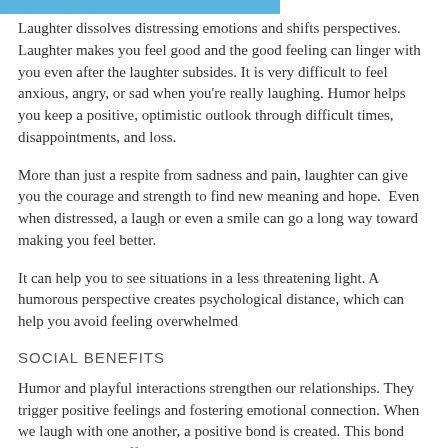MENTAL BENEFITS
Laughter dissolves distressing emotions and shifts perspectives. Laughter makes you feel good and the good feeling can linger with you even after the laughter subsides. It is very difficult to feel anxious, angry, or sad when you're really laughing. Humor helps you keep a positive, optimistic outlook through difficult times, disappointments, and loss.
More than just a respite from sadness and pain, laughter can give you the courage and strength to find new meaning and hope.  Even when distressed, a laugh or even a smile can go a long way toward making you feel better.
It can help you to see situations in a less threatening light. A humorous perspective creates psychological distance, which can help you avoid feeling overwhelmed
SOCIAL BENEFITS
Humor and playful interactions strengthen our relationships. They trigger positive feelings and fostering emotional connection. When we laugh with one another, a positive bond is created. This bond acts as a strong buffer against disagreements, tension and